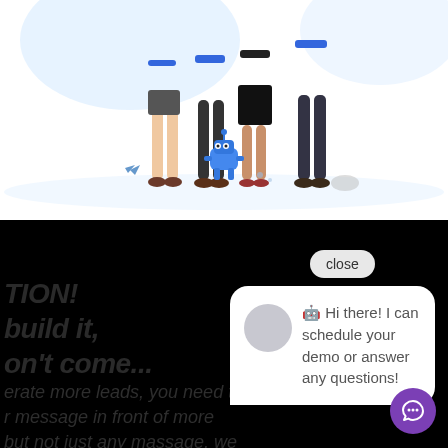[Figure (illustration): Illustration showing the lower bodies of several people standing together with a small blue robot/character in the center, on a light background with decorative elements]
TION!
build it,
on't come...
erate more leads, you need to
r message in front of more
but not just any massage, we
[Figure (screenshot): Chat widget popup showing a close button and a chat message bubble with avatar saying: Hi there! I can schedule your demo or answer any questions!, with a purple chat icon button below]